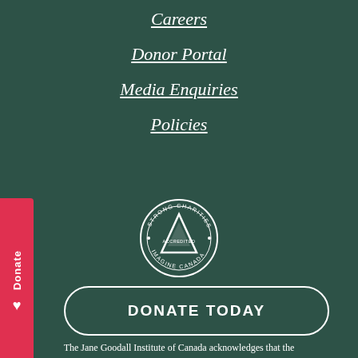Careers
Donor Portal
Media Enquiries
Policies
[Figure (logo): Strong Charities Accredited Imagine Canada circular badge/seal logo]
DONATE TODAY
The Jane Goodall Institute of Canada acknowledges that the